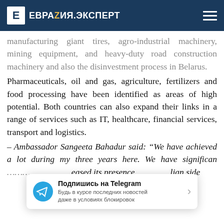ЕВРАЗИЯ.ЭКСПЕРТ
manufacturing giant tires, agro-industrial machinery, mining equipment, and heavy-duty road construction machinery and also the disinvestment process in Belarus.
Pharmaceuticals, oil and gas, agriculture, fertilizers and food processing have been identified as areas of high potential. Both countries can also expand their links in a range of services such as IT, healthcare, financial services, transport and logistics.
– Ambassador Sangeeta Bahadur said: “We have achieved a lot during my three years here. We have significan… eased its presence… lian side
[Figure (other): Telegram subscription banner: Подпишись на Telegram — Будь в курсе последних новостей даже в условиях блокировок]